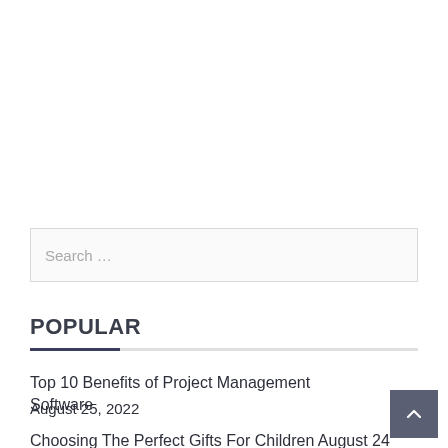Search …
POPULAR
Top 10 Benefits of Project Management Software
August 25, 2022
Choosing The Perfect Gifts For Children August 24